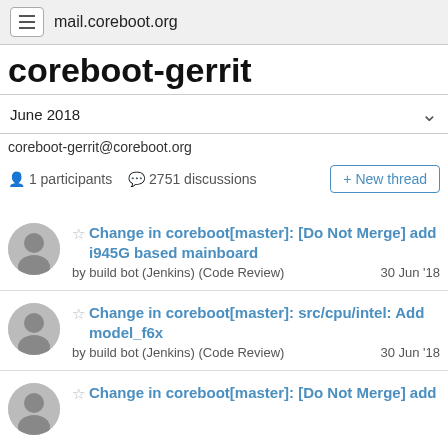mail.coreboot.org
coreboot-gerrit
June 2018
coreboot-gerrit@coreboot.org
1 participants  2751 discussions
Change in coreboot[master]: [Do Not Merge] add i945G based mainboard — by build bot (Jenkins) (Code Review) — 30 Jun '18
Change in coreboot[master]: src/cpu/intel: Add model_f6x — by build bot (Jenkins) (Code Review) — 30 Jun '18
Change in coreboot[master]: [Do Not Merge] add